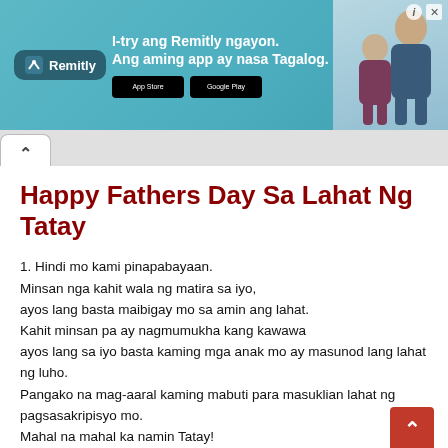[Figure (illustration): Remitly advertisement banner with teal background. Logo on left, headline text 'I-try ang Remitly ngayon. Ang aming app ay nasa Tagalog.' in center, App Store and Google Play buttons, and photo of two smiling people on the right.]
^ (browser tab with chevron up arrow)
Happy Fathers Day Sa Lahat Ng Tatay
1. Hindi mo kami pinapabayaan.
Minsan nga kahit wala ng matira sa iyo,
ayos lang basta maibigay mo sa amin ang lahat.
Kahit minsan pa ay nagmumukha kang kawawa
ayos lang sa iyo basta kaming mga anak mo ay masunod lang lahat ng luho.
Pangako na mag-aaral kaming mabuti para masuklian lahat ng pagsasakripisyo mo.
Mahal na mahal ka namin Tatay!
2. Ang mga grasa sa iyong pisngi at putik sa iyong mga braso